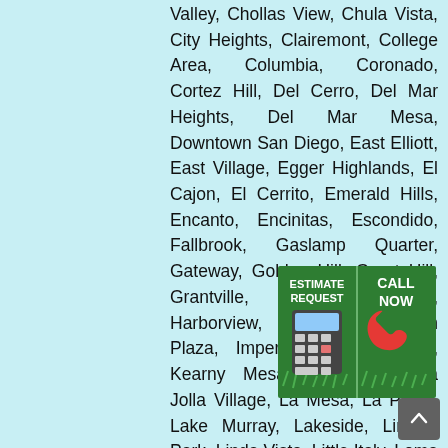Valley, Chollas View, Chula Vista, City Heights, Clairemont, College Area, Columbia, Coronado, Cortez Hill, Del Cerro, Del Mar Heights, Del Mar Mesa, Downtown San Diego, East Elliott, East Village, Egger Highlands, El Cajon, El Cerrito, Emerald Hills, Encanto, Encinitas, Escondido, Fallbrook, Gaslamp Quarter, Gateway, Golden Hill, Grant Hill, Grantville, Harbor Island, Harborview, Hillcrest, Horton Plaza, Imperial Beach, Jamul, Kearny Mesa, Kensington, La Jolla Village, La Mesa, La Playa, Lake Murray, Lakeside, Lincoln Park, Linda Vista, Little Italy, Loma Portal, Lomita, Logan Heights, Marina, Marston Hills, Memorial, Midtown, Midway, Mira Mesa, Mission Bay, Mission Valley, Point Loma, Point Loma Heights, Mission Hope, National City, Normal Heights, North City, North Park, North Clairemont, Oak
[Figure (infographic): A call-to-action banner overlaid on the text, split into two halves on a green grass background. Left half shows 'ESTIMATE REQUEST' text with a calculator icon. Right half shows 'CALL NOW' text with a red phone handset icon.]